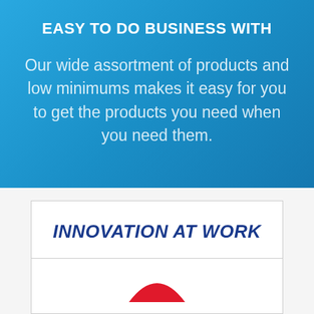EASY TO DO BUSINESS WITH
Our wide assortment of products and low minimums makes it easy for you to get the products you need when you need them.
INNOVATION AT WORK
[Figure (logo): Red arc/logo mark at bottom of card]